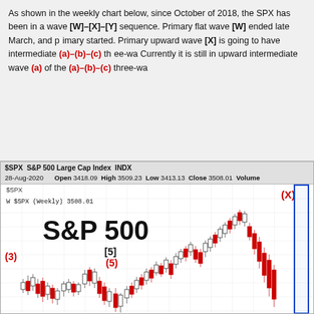As shown in the weekly chart below, since October of 2018, the SPX has been in a wave [W]–[X]–[Y] sequence. Primary flat wave [W] ended late March, and primary [X] started. Primary upward wave [X] is going to have intermediate (a)–(b)–(c) three-wave structure. Currently it is still in upward intermediate wave (a) of the (a)–(b)–(c) three-wave...
[Figure (continuous-plot): Weekly candlestick chart of $SPX (S&P 500 Large Cap Index). Date: 28-Aug-2020. Open 3418.09, High 3509.23, Low 3413.13, Close 3508.01. Chart shows Elliott Wave labels: (3) at left, [5] and (5) in middle, (X) at upper right with blue rectangle marking recent high area. Candlestick price action from 2018 to 2020 showing a complex corrective structure followed by a strong upward rally to new highs around 3508.]